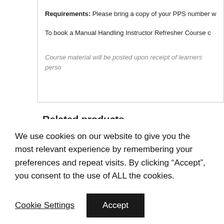Requirements: Please bring a copy of your PPS number w
To book a Manual Handling Instructor Refresher Course c
Course material will be posted upon receipt of learners perso
Related products
We use cookies on our website to give you the most relevant experience by remembering your preferences and repeat visits. By clicking “Accept”, you consent to the use of ALL the cookies.
Cookie Settings
Accept